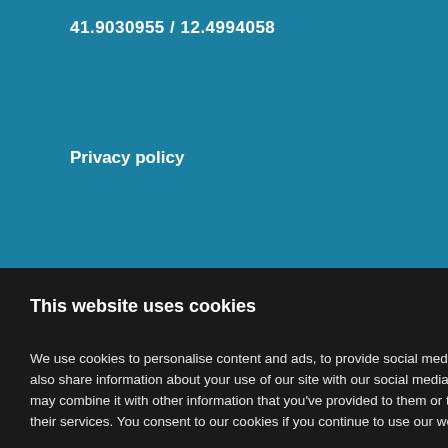41.9030955 / 12.4994058
Privacy policy
2017 videos
6 luglio 2017
wards 2017
2 aprile 2017
re Building
n Modeling
2 aprile 2017
This website uses cookies
We use cookies to personalise content and ads, to provide social media features and to analyse our traffic. We also share information about your use of our site with our social media, advertising and analytics partners who may combine it with other information that you've provided to them or that they've collected from your use of their services. You consent to our cookies if you continue to use our website. Privacy policy
Accept cookies